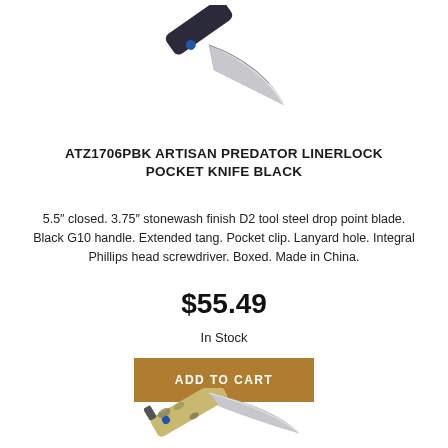[Figure (photo): Artisan Predator Linerlock pocket knife with black G10 handle and blue accent, blade open, photographed at an angle on white background.]
ATZ1706PBK ARTISAN PREDATOR LINERLOCK POCKET KNIFE BLACK
5.5" closed. 3.75" stonewash finish D2 tool steel drop point blade. Black G10 handle. Extended tang. Pocket clip. Lanyard hole. Integral Phillips head screwdriver. Boxed. Made in China.
$55.49
In Stock
ADD TO CART
[Figure (photo): Artisan pocket knife with camouflage pattern handle and blue accent, blade open, photographed at an angle on white background.]